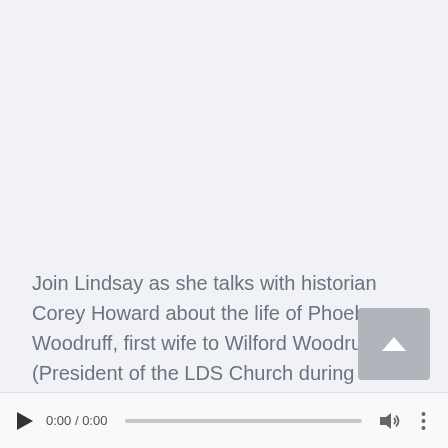Join Lindsay as she talks with historian Corey Howard about the life of Phoebe Woodruff, first wife to Wilford Woodruff (President of the LDS Church during the Manifesto period).
[Figure (other): Audio player controls bar showing play button, time display 0:00 / 0:00, progress bar, volume icon, and more options icon]